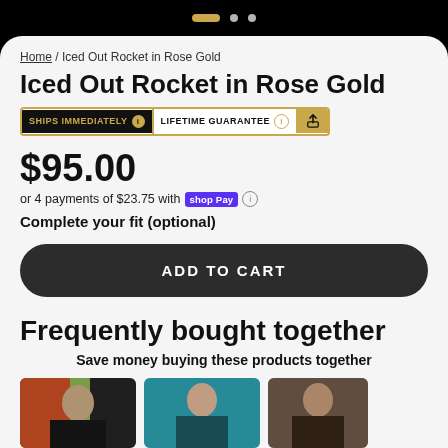[Figure (screenshot): Carousel navigation dots: one active gold pill and two white circle dots on black background]
Home / Iced Out Rocket in Rose Gold
Iced Out Rocket in Rose Gold
SHIPS IMMEDIATELY  LIFETIME GUARANTEE  [share icon]
$95.00
or 4 payments of $23.75 with shop Pay
Complete your fit (optional)
ADD TO CART
Frequently bought together
Save money buying these products together
[Figure (photo): Three product lifestyle photos showing people wearing jewelry/accessories]